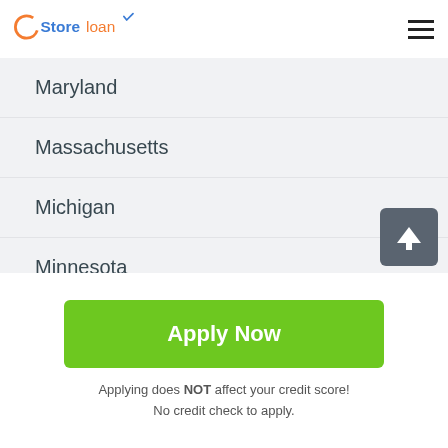[Figure (logo): Store loan logo with orange circle C and blue/orange text]
Maryland
Massachusetts
Michigan
Minnesota
Mississippi
Missouri
Apply Now
Applying does NOT affect your credit score!
No credit check to apply.